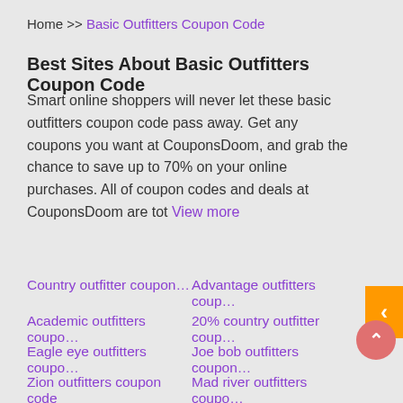Home >> Basic Outfitters Coupon Code
Best Sites About Basic Outfitters Coupon Code
Smart online shoppers will never let these basic outfitters coupon code pass away. Get any coupons you want at CouponsDoom, and grab the chance to save up to 70% on your online purchases. All of coupon codes and deals at CouponsDoom are tot View more
Country outfitter coupon…
Advantage outfitters coup…
Academic outfitters coupo…
20% country outfitter coup…
Eagle eye outfitters coupo…
Joe bob outfitters coupon…
Zion outfitters coupon code
Mad river outfitters coupo…
25%Off Urban Outfitters Coupon - (Verified) Best Coupon Codes Ad http://www.couponcodesget.com/urbanoutfitters 25% Off Urban Outfitters Coupon Code Now. 100% Official Verification, Limited Time Offer! More